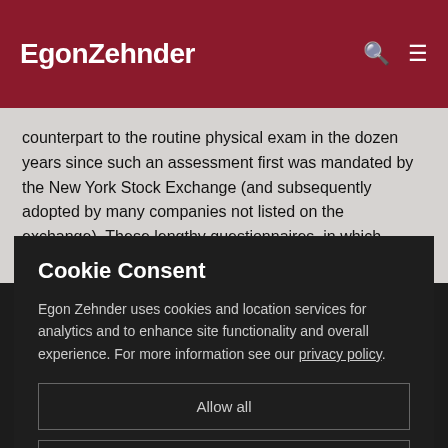EgonZehnder
counterpart to the routine physical exam in the dozen years since such an assessment first was mandated by the New York Stock Exchange (and subsequently adopted by many companies not listed on the exchange). These lengthy questionnaires, in which directors typically rate
Cookie Consent
Egon Zehnder uses cookies and location services for analytics and to enhance site functionality and overall experience. For more information see our privacy policy.
Allow all
Show details